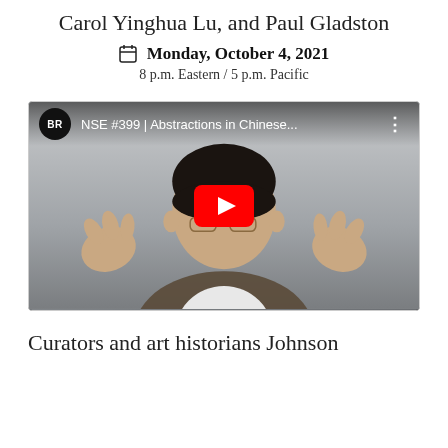Carol Yinghua Lu, and Paul Gladston
Monday, October 4, 2021
8 p.m. Eastern / 5 p.m. Pacific
[Figure (screenshot): YouTube video thumbnail showing a person speaking with hands raised, with a YouTube play button overlay. Title reads 'NSE #399 | Abstractions in Chinese...' with a BR channel logo badge.]
Curators and art historians Johnson